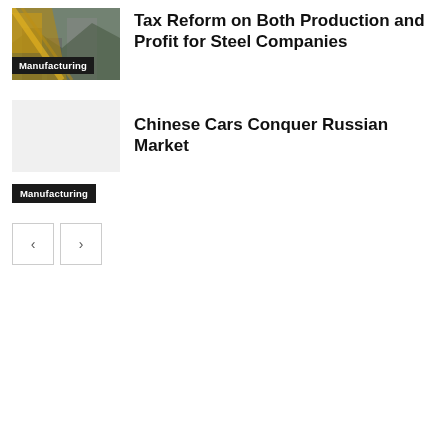[Figure (photo): Manufacturing/industrial steel facility photo with yellow machinery visible, with 'Manufacturing' badge overlay at bottom left]
Tax Reform on Both Production and Profit for Steel Companies
Chinese Cars Conquer Russian Market
Manufacturing
< >